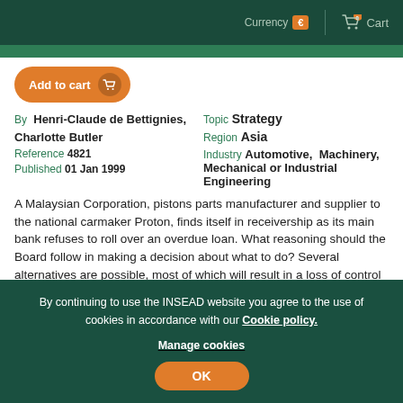Currency € | Cart
Add to cart
By Henri-Claude de Bettignies, Charlotte Butler
Reference 4821
Published 01 Jan 1999
Topic Strategy
Region Asia
Industry Automotive, Machinery, Mechanical or Industrial Engineering
A Malaysian Corporation, pistons parts manufacturer and supplier to the national carmaker Proton, finds itself in receivership as its main bank refuses to roll over an overdue loan. What reasoning should the Board follow in making a decision about what to do? Several alternatives are possible, most of which will result in a loss of control to foreigners.
By continuing to use the INSEAD website you agree to the use of cookies in accordance with our Cookie policy.
Manage cookies
OK